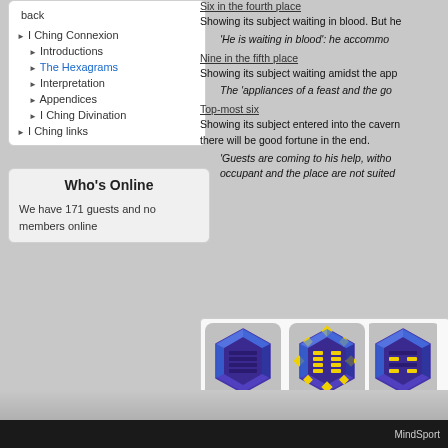back
I Ching Connexion
Introductions
The Hexagrams
Interpretation
Appendices
I Ching Divination
I Ching links
Who's Online
We have 171 guests and no members online
Six in the fourth place
Showing its subject waiting in blood. But he
'He is waiting in blood': he accommo
Nine in the fifth place
Showing its subject waiting amidst the app
The 'appliances of a feast and the go
Top-most six
Showing its subject entered into the cavern... there will be good fortune in the end.
'Guests are coming to his help, witho... occupant and the place are not suited
[Figure (illustration): Three hexagram icons in purple/blue/yellow showing 1. Ch'ien Creative Principle, 2. K'un Passive Principle, 3. Ch... Initial Difficu...]
MindSport